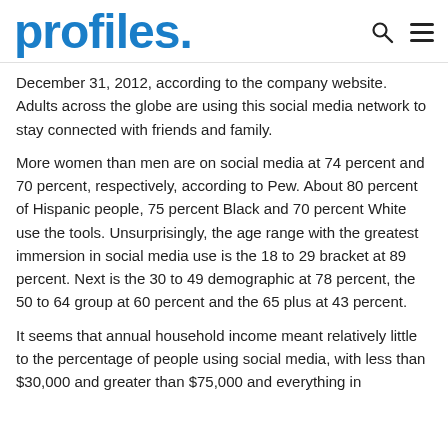profiles.
December 31, 2012, according to the company website. Adults across the globe are using this social media network to stay connected with friends and family.
More women than men are on social media at 74 percent and 70 percent, respectively, according to Pew. About 80 percent of Hispanic people, 75 percent Black and 70 percent White use the tools. Unsurprisingly, the age range with the greatest immersion in social media use is the 18 to 29 bracket at 89 percent. Next is the 30 to 49 demographic at 78 percent, the 50 to 64 group at 60 percent and the 65 plus at 43 percent.
It seems that annual household income meant relatively little to the percentage of people using social media, with less than $30,000 and greater than $75,000 and everything in